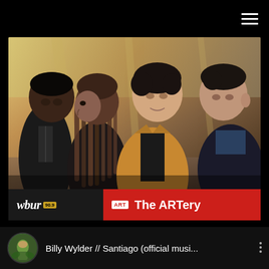[Figure (photo): Top navigation bar with hamburger menu icon on black background]
[Figure (photo): Photo of four young musicians (a band) posing together. Left: tall Black man in black hoodie. Center-left: young woman with long dreadlocks facing left. Center-right: young white man with dark curly hair wearing a yellow/mustard jacket. Right: another young white man with short dark hair in a black jacket. Background appears to be an indoor venue with warm lighting.]
wbur 90.9   ART   The ARTery
Billy Wylder // Santiago (official musi...